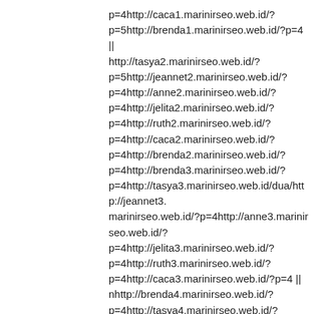p=4http://caca1.marinirseo.web.id/?p=5http://brenda1.marinirseo.web.id/?p=4 || http://tasya2.marinirseo.web.id/?p=5http://jeannet2.marinirseo.web.id/?p=4http://anne2.marinirseo.web.id/?p=4http://jelita2.marinirseo.web.id/?p=4http://ruth2.marinirseo.web.id/?p=4http://caca2.marinirseo.web.id/?p=4http://brenda2.marinirseo.web.id/?p=4http://brenda3.marinirseo.web.id/?p=4http://tasya3.marinirseo.web.id/dua/http://jeannet3.marinirseo.web.id/?p=4http://anne3.marinirseo.web.id/?p=4http://jelita3.marinirseo.web.id/?p=4http://ruth3.marinirseo.web.id/?p=4http://caca3.marinirseo.web.id/?p=4 || nhttp://brenda4.marinirseo.web.id/?p=4http://tasya4.marinirseo.web.id/?p=4http://jeannet4.marinirseo.web.id/?p=4http://anne4.marinirseo.web.id/?p=4http://jelita4.marinirseo.web.id/?p=5http://ruth4.marinirseo.web.id/?p=4http://caca4.marinirseo.web.id/?p=4 ||